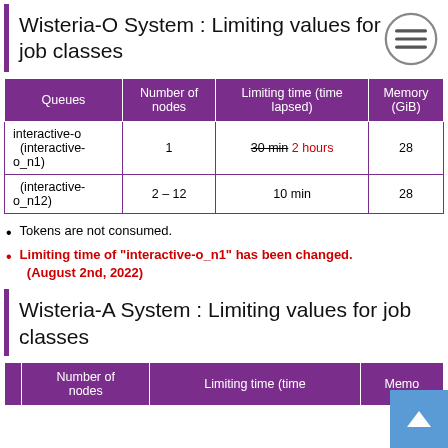Wisteria-O System : Limiting values for job classes
| Queues | Number of nodes | Limiting time (time lapsed) | Memory (GiB) |
| --- | --- | --- | --- |
| interactive-o (interactive-o_n1) | 1 | 30 min → 2 hours | 28 |
| (interactive-o_n12) | 2 – 12 | 10 min | 28 |
Tokens are not consumed.
Limiting time of "interactive-o_n1" has been changed. (August 2nd, 2022)
Wisteria-A System : Limiting values for job classes
| Queues | Number of nodes | Limiting time (time lapsed) | Memory (GiB) |
| --- | --- | --- | --- |